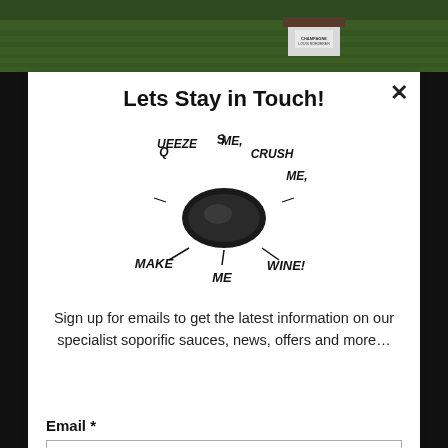[Figure (photo): Aerial or wide-angle photo of a green vineyard with a small white building labeled 'Champagne Louis Roederer']
Lets Stay in Touch!
[Figure (illustration): Hand-drawn illustration of a grape cluster with text 'Squeeze Me, Crush Me, Make Me Wine!' written around it in a stylized font]
Sign up for emails to get the latest information on our specialist soporific sauces, news, offers and more…
Email *